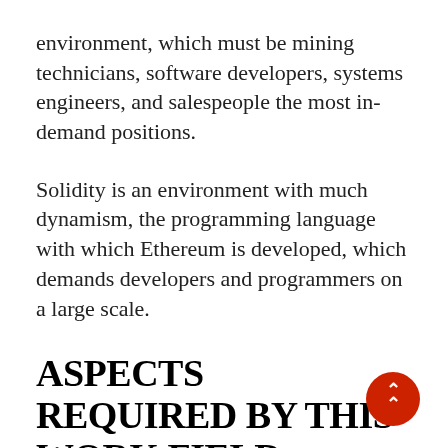environment, which must be mining technicians, software developers, systems engineers, and salespeople the most in-demand positions.
Solidity is an environment with much dynamism, the programming language with which Ethereum is developed, which demands developers and programmers on a large scale.
ASPECTS REQUIRED BY THIS WORK FIELD
For sure, it is not essential to have an engineering degree and excellent university knowledge to obtain a job in the crypto world. However, such is